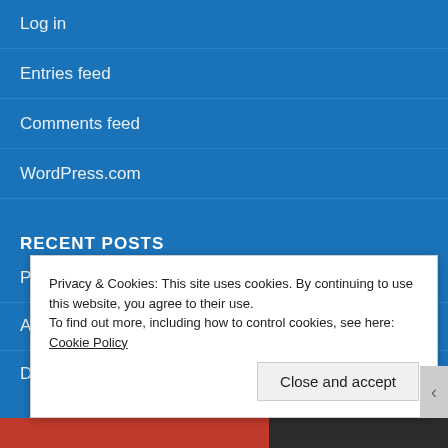Log in
Entries feed
Comments feed
WordPress.com
RECENT POSTS
Prosecco – 3 ways to a New Years Party...
A Temporary (forced) Hiatus
Dia De Los Muertos – A Mexican Celebration
Privacy & Cookies: This site uses cookies. By continuing to use this website, you agree to their use.
To find out more, including how to control cookies, see here: Cookie Policy
Close and accept